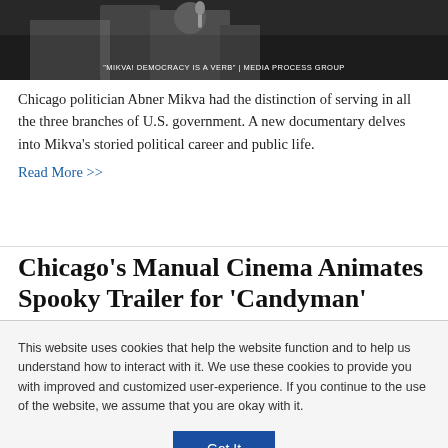[Figure (photo): A man in a suit speaking into a microphone outdoors. Caption reads: "MIKVA! DEMOCRACY IS A VERB" | MEDIA PROCESS GROUP]
Chicago politician Abner Mikva had the distinction of serving in all the three branches of U.S. government. A new documentary delves into Mikva's storied political career and public life.
Read More >>
Chicago's Manual Cinema Animates Spooky Trailer for 'Candyman'
Oct 26, 2020 | Marc Vitali
This website uses cookies that help the website function and to help us understand how to interact with it. We use these cookies to provide you with improved and customized user-experience. If you continue to the use of the website, we assume that you are okay with it.
Got It